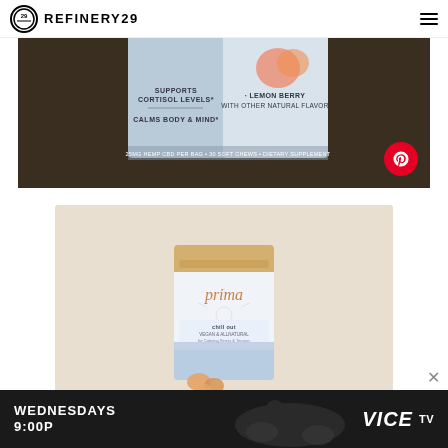REFINERY29
[Figure (photo): Close-up photo of a CBD soft chew product bag (lemon berry flavor) lying on a dark brown surface, partially showing text: SUPPORTS CORTISOL LEVELS, CALMS BODY & MIND, LEMON BERRY WITH OTHER NATURAL FLAVOR, 25MG HEMP CBD PER BAG, 30 SOFT CHEWS, DIETARY SUPPLEMENT. A red Pinterest button is overlaid in the bottom right corner.]
[Figure (photo): Product photo of Prima brand Chill Out soft chews pouch on a beige/tan background. White and blue gradient pouch with gold/tan top, displaying the Prima logo in script font. Small gummies are shown in front of the bag.]
[Figure (photo): Advertisement banner for VICE TV showing WEDNESDAYS 9:00P text with a dark background and silhouetted figure on a motorcycle.]